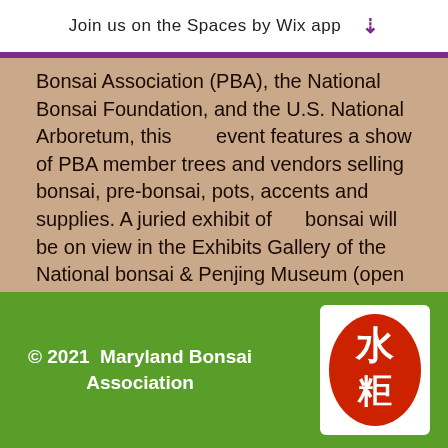Join us on the Spaces by Wix app ↓
Bonsai Association (PBA), the National Bonsai Foundation, and the U.S. National Arboretum, this event features a show of PBA member trees and vendors selling bonsai, pre-bonsai, pots, accents and supplies. A juried exhibit of bonsai will be on view in the Exhibits Gallery of the National bonsai & Penjing Museum (open 10:00 am – 4:00 pm). Free d demonstrations will be given by PBA members. There will also be fee-based workshops.
© 2021  Maryland Bonsai Association
[Figure (logo): Red oval seal with Chinese characters for bonsai/water essence]